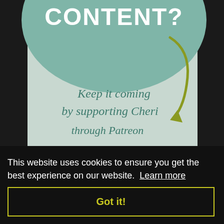[Figure (illustration): Website screenshot showing a teal/mint background with a large circle, the word 'CONTENT?' in bold white text at top, an olive/yellow-green curved arrow pointing down, and italic teal text reading 'Keep it coming by supporting Cheri through Patreon']
This website uses cookies to ensure you get the best experience on our website. Learn more
Got it!